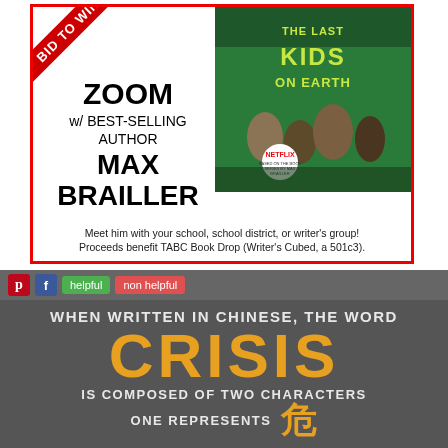[Figure (infographic): Ad for Zoom with best-selling author Max Brailler featuring The Last Kids on Earth book cover with Netflix badge, text: ZOOM w/ BEST-SELLING AUTHOR MAX BRAILLER. Meet him with your school, school district, or writer's group! Proceeds benefit TABC Book Drop (Writer's Cubed, a 501c3).]
[Figure (infographic): Dark grey infographic with social media buttons (Pinterest, Facebook, helpful, non helpful). Text reads: WHEN WRITTEN IN CHINESE, THE WORD CRISIS IS COMPOSED OF TWO CHARACTERS ONE REPRESENTS [Chinese character symbol]]